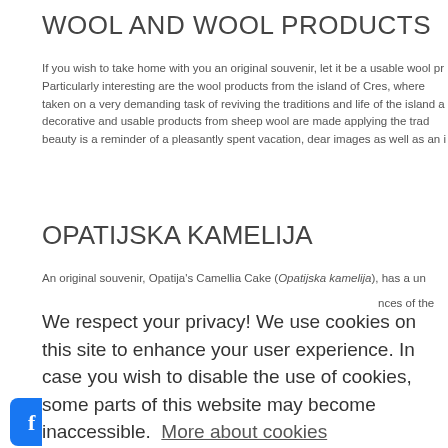WOOL AND WOOL PRODUCTS
If you wish to take home with you an original souvenir, let it be a usable wool product. Particularly interesting are the wool products from the island of Cres, where taken on a very demanding task of reviving the traditions and life of the island and decorative and usable products from sheep wool are made applying the traditional beauty is a reminder of a pleasantly spent vacation, dear images as well as an i
OPATIJSKA KAMELIJA
An original souvenir, Opatija’s Camellia Cake (Opatijska kamelija), has a unique... nces of the , oranges, n ake can be
We respect your privacy! We use cookies on this site to enhance your user experience. In case you wish to disable the use of cookies, some parts of this website may become inaccessible.  More about cookies
I understand
[Figure (other): Social media icons row: Facebook, Instagram, Twitter/YouTube, colorful circle logo, Croatia tourism logo]